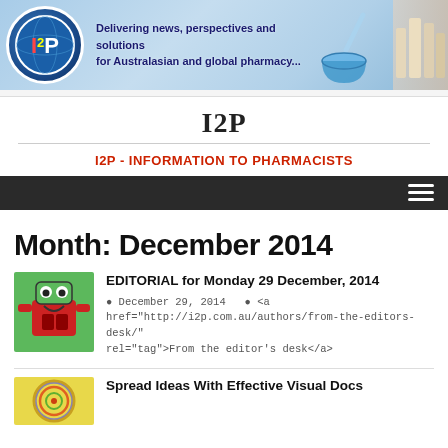[Figure (illustration): I2P website banner with logo globe, pharmacy text tagline, mortar and pestle, and medicine bottles on blue gradient background]
I2P
I2P - INFORMATION TO PHARMACISTS
[Figure (screenshot): Dark navigation bar with hamburger menu icon]
Month: December 2014
[Figure (illustration): Cartoon robot/computer character thumbnail image for editorial article]
EDITORIAL for Monday 29 December, 2014
December 29, 2014   <a href="http://i2p.com.au/authors/from-the-editors-desk/" rel="tag">From the editor's desk</a>
[Figure (illustration): Colorful swirl pattern thumbnail for Spread Ideas article]
Spread Ideas With Effective Visual Docs